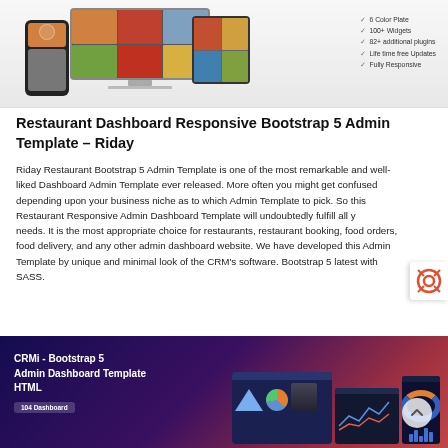[Figure (screenshot): Screenshot of a restaurant dashboard admin template showing device mockups (desktop, tablet, phone) with food images and a feature list: 6 Color Plate, 100+ Widgets, 82+ additional plugins, Life time free Updates, Fully Responsive]
Restaurant Dashboard Responsive Bootstrap 5 Admin Template – Riday
Riday Restaurant Bootstrap 5 Admin Template is one of the most remarkable and well-liked Dashboard Admin Template ever released. More often you might get confused depending upon your business niche as to which Admin Template to pick. So this Restaurant Responsive Admin Dashboard Template will undoubtedly fulfill all your needs. It is the most appropriate choice for restaurants, restaurant booking, food orders, food delivery, and any other admin dashboard website. We have developed this Admin Template by unique and minimal look of the CRM's software. Bootstrap 5 latest with SASS.
[Figure (screenshot): Banner image for CRMi - Bootstrap 5 Admin Dashboard Template HTML, showing 104 Dashboard text on a dark purple-red gradient background with dashboard UI screenshots]